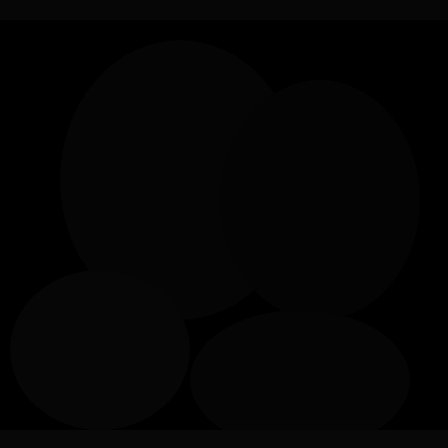[Figure (photo): A nearly completely black image with very faint, barely visible dark shapes or textures suggesting a nighttime or heavily underexposed photograph.]